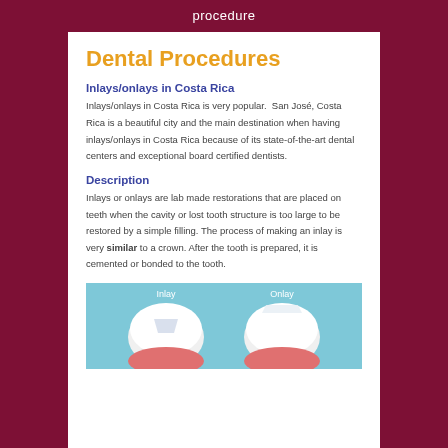procedure
Dental Procedures
Inlays/onlays in Costa Rica
Inlays/onlays in Costa Rica is very popular.  San José, Costa Rica is a beautiful city and the main destination when having inlays/onlays in Costa Rica because of its state-of-the-art dental centers and exceptional board certified dentists.
Description
Inlays or onlays are lab made restorations that are placed on teeth when the cavity or lost tooth structure is too large to be restored by a simple filling. The process of making an inlay is very similar to a crown. After the tooth is prepared, it is cemented or bonded to the tooth.
[Figure (illustration): Diagram showing Inlay and Onlay dental restorations side by side, with white teeth on a blue background with pink gum area visible at the bottom.]